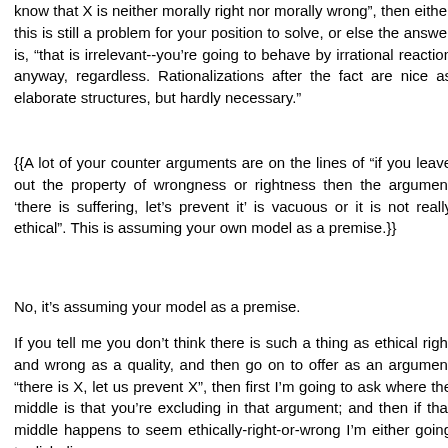know that X is neither morally right nor morally wrong", then either this is still a problem for your position to solve, or else the answer is, “that is irrelevant--you’re going to behave by irrational reaction anyway, regardless. Rationalizations after the fact are nice as elaborate structures, but hardly necessary.”
{{A lot of your counter arguments are on the lines of “if you leave out the property of wrongness or rightness then the argument ‘there is suffering, let’s prevent it’ is vacuous or it is not really ethical". This is assuming your own model as a premise.}}
No, it’s assuming your model as a premise.
If you tell me you don’t think there is such a thing as ethical right and wrong as a quality, and then go on to offer as an argument “there is X, let us prevent X”, then first I’m going to ask where the middle is that you’re excluding in that argument; and then if that middle happens to seem ethically-right-or-wrong I’m either going to disbelieve you